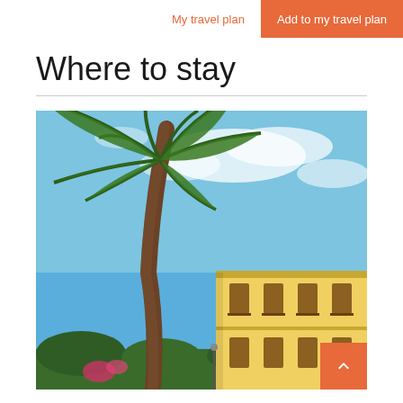My travel plan | Add to my travel plan
Where to stay
[Figure (photo): Outdoor photo of a tall palm tree in the foreground against a blue sky with white clouds, and a yellow two-storey building in the background with brown-trimmed windows and balconies.]